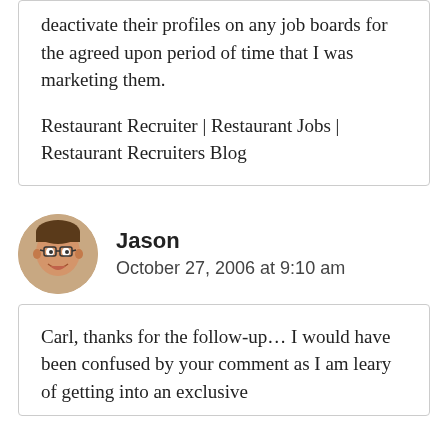deactivate their profiles on any job boards for the agreed upon period of time that I was marketing them.
Restaurant Recruiter | Restaurant Jobs | Restaurant Recruiters Blog
Jason
October 27, 2006 at 9:10 am
Carl, thanks for the follow-up… I would have been confused by your comment as I am leary of getting into an exclusive